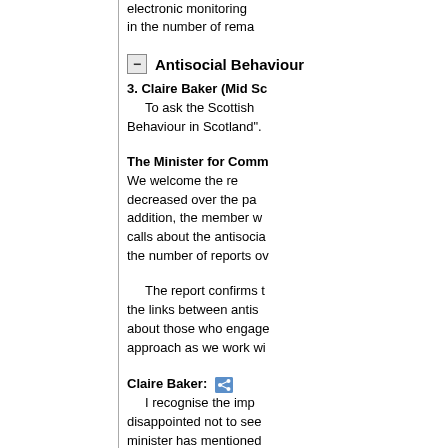electronic monitoring... in the number of rema...
Antisocial Behaviour
3. Claire Baker (Mid Sc...) To ask the Scottish ... Behaviour in Scotland".
The Minister for Comm... We welcome the re... decreased over the pa... addition, the member w... calls about the antisocia... the number of reports ov...
The report confirms t... the links between antis... about those who engage... approach as we work wi...
Claire Baker: I recognise the imp... disappointed not to see... minister has mentioned... behavioural charges are... many years, and I am f...